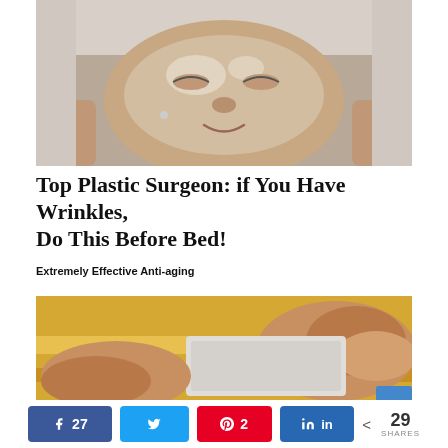[Figure (photo): Close-up photo of a woman's face receiving a facial treatment, with a transparent mask applied. White towel wrapped around her head.]
Top Plastic Surgeon: if You Have Wrinkles, Do This Before Bed!
Extremely Effective Anti-aging
[Figure (photo): Close-up photo of hands holding or applying a yellow/golden fabric or product against skin.]
27  [Facebook share button]  [Twitter share button]  2 [Pinterest share button]  [LinkedIn share button]  < 29 SHARES